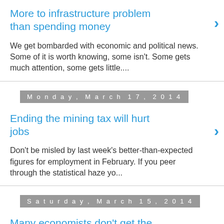More to infrastructure problem than spending money
We get bombarded with economic and political news. Some of it is worth knowing, some isn't. Some gets much attention, some gets little....
Monday, March 17, 2014
Ending the mining tax will hurt jobs
Don't be misled by last week's better-than-expected figures for employment in February. If you peer through the statistical haze yo...
Saturday, March 15, 2014
Many economists don't get the labour market
The world is full of economists who, though they know little of the specifics of labour economics, confidently propose policies for managin...